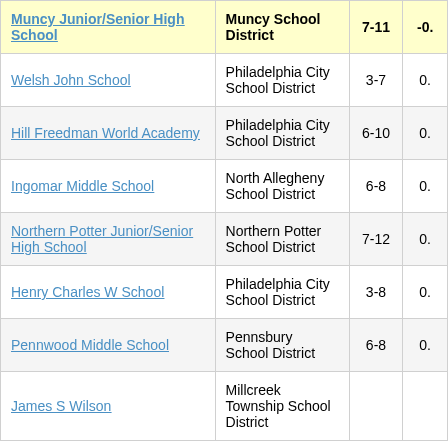| School | District | Grades | Score |
| --- | --- | --- | --- |
| Muncy Junior/Senior High School | Muncy School District | 7-11 | -0. |
| Welsh John School | Philadelphia City School District | 3-7 | 0. |
| Hill Freedman World Academy | Philadelphia City School District | 6-10 | 0. |
| Ingomar Middle School | North Allegheny School District | 6-8 | 0. |
| Northern Potter Junior/Senior High School | Northern Potter School District | 7-12 | 0. |
| Henry Charles W School | Philadelphia City School District | 3-8 | 0. |
| Pennwood Middle School | Pennsbury School District | 6-8 | 0. |
| James S Wilson | Millcreek Township School District | 6-8 |  |